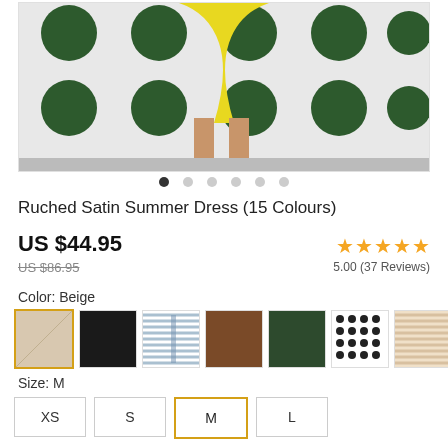[Figure (photo): Product photo showing lower body of a person wearing a yellow satin dress and clear heeled sandals, standing in front of a white wall with large dark green circles]
Ruched Satin Summer Dress (15 Colours)
US $44.95
US $86.95
5.00 (37 Reviews)
Color: Beige
[Figure (photo): Color swatch thumbnails for dress color options]
Size: M
XS S M L